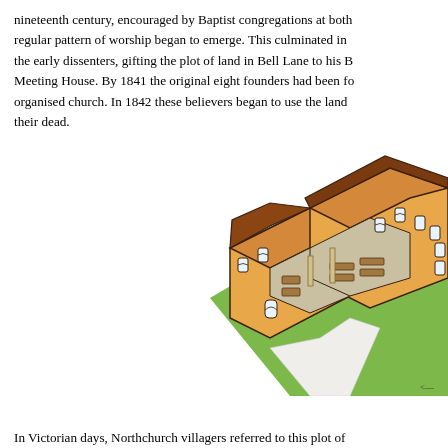nineteenth century, encouraged by Baptist congregations at both... regular pattern of worship began to emerge. This culminated in... the early dissenters, gifting the plot of land in Bell Lane to his B... Meeting House. By 1841 the original eight founders had been f... organised church. In 1842 these believers began to use the land ... their dead.
[Figure (illustration): A coloured isometric illustration of a Baptist meeting house / church building shown as a cutaway 3D view. The building has orange/tan brick walls, a dark brown roof ridge, multiple arched windows, and sits on a green plot with a white path. The interior shows pews/seating and structural columns.]
In Victorian days, Northchurch villagers referred to this plot of...